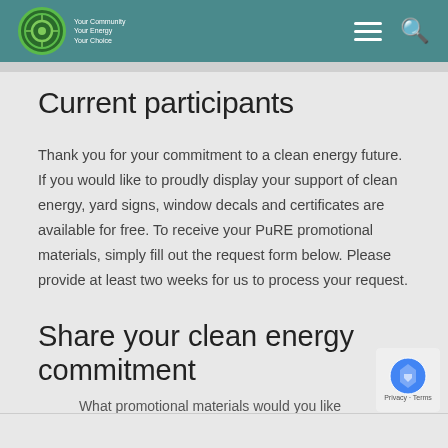Your Community Your Energy Your Choice
Current participants
Thank you for your commitment to a clean energy future. If you would like to proudly display your support of clean energy, yard signs, window decals and certificates are available for free. To receive your PuRE promotional materials, simply fill out the request form below. Please provide at least two weeks for us to process your request.
Share your clean energy commitment
What promotional materials would you like